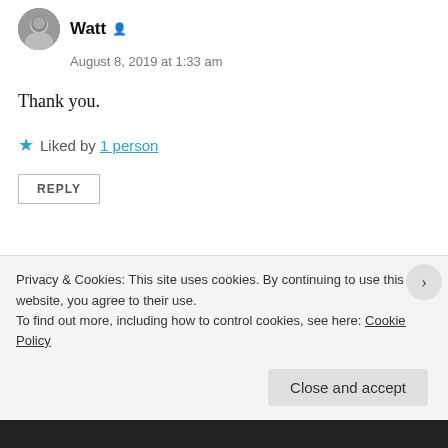Watt
August 8, 2019 at 1:33 am
Thank you.
★ Liked by 1 person
REPLY
charliezero1.wordpress.com
August 8, 2019 at 5:28 pm
You welcome, Watt. 🙂
Privacy & Cookies: This site uses cookies. By continuing to use this website, you agree to their use.
To find out more, including how to control cookies, see here: Cookie Policy
Close and accept